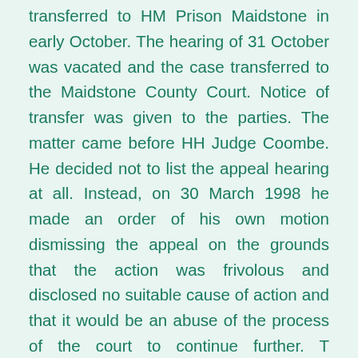transferred to HM Prison Maidstone in early October. The hearing of 31 October was vacated and the case transferred to the Maidstone County Court. Notice of transfer was given to the parties. The matter came before HH Judge Coombe. He decided not to list the appeal hearing at all. Instead, on 30 March 1998 he made an order of his own motion dismissing the appeal on the grounds that the action was frivolous and disclosed no suitable cause of action and that it would be an abuse of the process of the court to continue further. T received notification of the judge's order on 4 April. On 23 April T wrote to the court giving notice of his intention to appeal. Leave to appeal was given on the express basis that it was arguable that the judge had no jurisdiction to dismiss the appeal on the papers without giving notice to the parties. Once leave to appeal was granted, the defendant offered to submit to an order remitting the